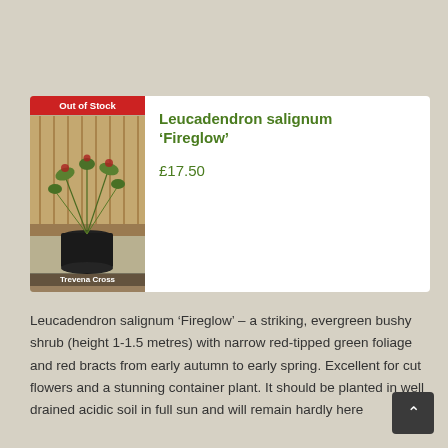[Figure (photo): Photo of Leucadendron salignum Fireglow plant in a black pot on wooden surface, with 'Out of Stock' red badge and 'Trevena Cross' label]
Leucadendron salignum ‘Fireglow’
£17.50
Leucadendron salignum ‘Fireglow’ – a striking, evergreen bushy shrub (height 1-1.5 metres) with narrow red-tipped green foliage and red bracts from early autumn to early spring. Excellent for cut flowers and a stunning container plant. It should be planted in well drained acidic soil in full sun and will remain hardly here